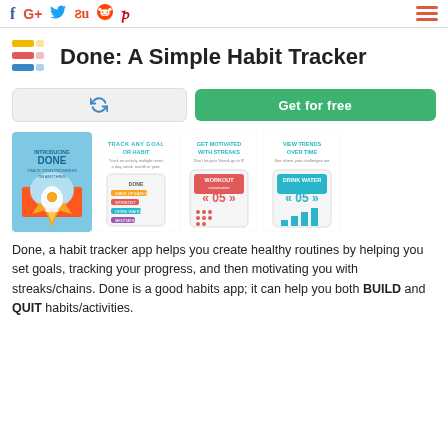Social icons: Facebook, Google+, Twitter, StumbleUpon, Reddit, Pinterest; Hamburger menu
Done: A Simple Habit Tracker
[Figure (screenshot): Refresh button and 'Get for free' green button]
[Figure (screenshot): App promotional screenshots showing Done habit tracker: main splash, Track Any Goal or Habit, Get Motivated With Streaks, View Trends Over Time]
Done, a habit tracker app helps you create healthy routines by helping you set goals, tracking your progress, and then motivating you with streaks/chains. Done is a good habits app; it can help you both BUILD and QUIT habits/activities.